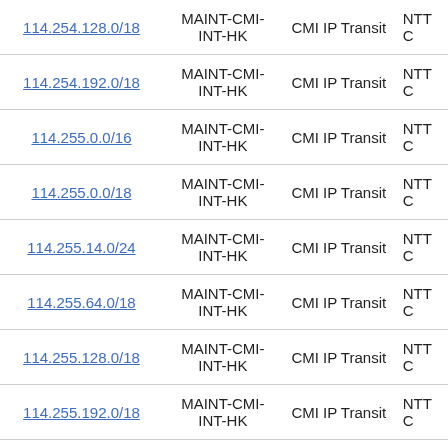| IP Prefix | Maintainer | Description | Source |
| --- | --- | --- | --- |
| 114.254.128.0/18 | MAINT-CMI-INT-HK | CMI IP Transit | NTTC |
| 114.254.192.0/18 | MAINT-CMI-INT-HK | CMI IP Transit | NTTC |
| 114.255.0.0/16 | MAINT-CMI-INT-HK | CMI IP Transit | NTTC |
| 114.255.0.0/18 | MAINT-CMI-INT-HK | CMI IP Transit | NTTC |
| 114.255.14.0/24 | MAINT-CMI-INT-HK | CMI IP Transit | NTTC |
| 114.255.64.0/18 | MAINT-CMI-INT-HK | CMI IP Transit | NTTC |
| 114.255.128.0/18 | MAINT-CMI-INT-HK | CMI IP Transit | NTTC |
| 114.255.192.0/18 | MAINT-CMI-INT-HK | CMI IP Transit | NTTC |